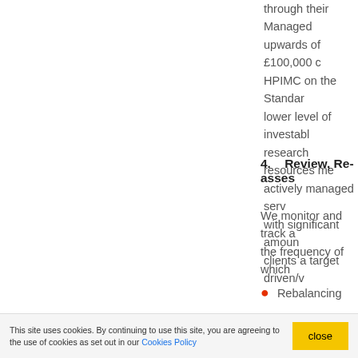through their Managed upwards of £100,000 c HPIMC on the Standar lower level of investabl research resources me actively managed serv with significant amoun clients a target driven/v
4.    Review, Re-asses
We monitor and track a the frequency of which
Rebalancing
Full financial revi